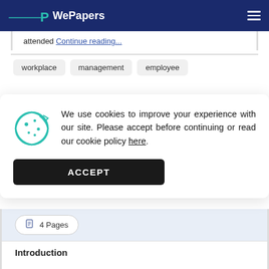WePapers
attended Continue reading...
workplace
management
employee
We use cookies to improve your experience with our site. Please accept before continuing or read our cookie policy here.
ACCEPT
4 Pages
Introduction